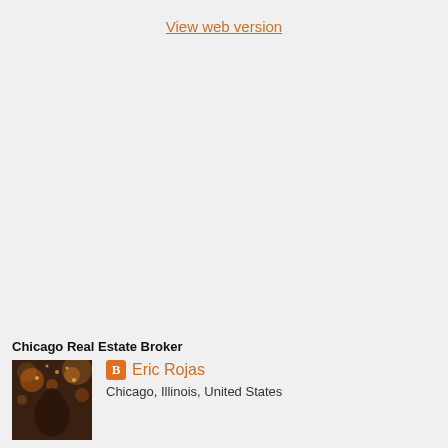View web version
Chicago Real Estate Broker
[Figure (photo): Profile photo of Eric Rojas in a dimly lit restaurant/bar setting with warm lights in the background]
Eric Rojas
Chicago, Illinois, United States